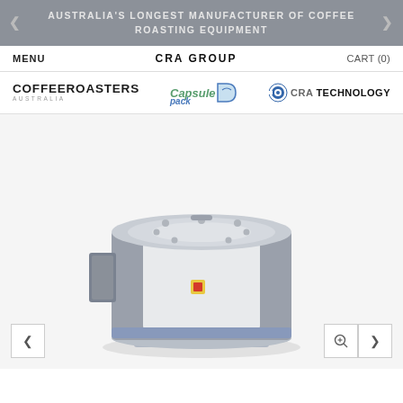AUSTRALIA'S LONGEST MANUFACTURER OF COFFEE ROASTING EQUIPMENT
MENU   CRA GROUP   CART (0)
[Figure (logo): Three logos: COFFEEROASTERS AUSTRALIA, CapsulePack, and CRA TECHNOLOGY]
[Figure (photo): 3D render of a large industrial coffee roasting drum machine, grey and white cylindrical unit with control panel on the side, on white background]